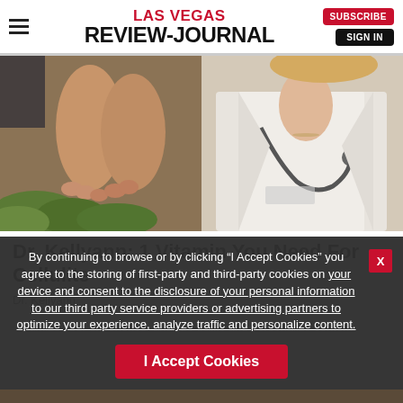LAS VEGAS REVIEW-JOURNAL
[Figure (photo): Split image: left side shows bare human feet/legs on green foliage; right side shows a woman in a white doctor's coat wearing a stethoscope]
Dr. Kellyann: 1 Vitamin You Need For Cellulite
Dr. Kellyann
By continuing to browse or by clicking “I Accept Cookies” you agree to the storing of first-party and third-party cookies on your device and consent to the disclosure of your personal information to our third party service providers or advertising partners to optimize your experience, analyze traffic and personalize content.
I Accept Cookies